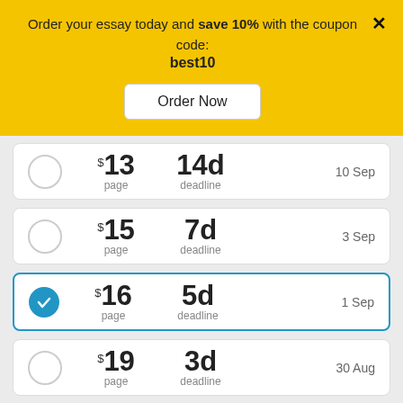Order your essay today and save 10% with the coupon code: best10
Order Now
$13 per page, 14d deadline, 10 Sep
$15 per page, 7d deadline, 3 Sep
$16 per page, 5d deadline, 1 Sep (selected)
$19 per page, 3d deadline, 30 Aug
$22 per page, 2d deadline, 29 Aug
Chat